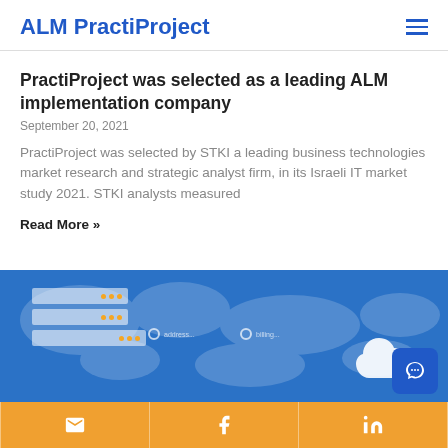ALM PractiProject
PractiProject was selected as a leading ALM implementation company
September 20, 2021
PractiProject was selected by STKI a leading business technologies market research and strategic analyst firm, in its Israeli IT market study 2021. STKI analysts measured
Read More »
[Figure (illustration): Blue banner with world map overlay, server stack icons on the left, and a white cloud icon on the right. Orange social media footer bar with email, Facebook, and LinkedIn icons.]